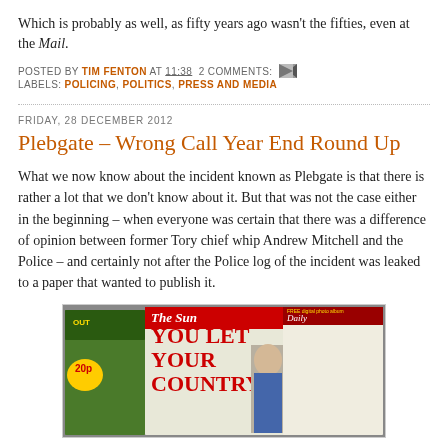Which is probably as well, as fifty years ago wasn't the fifties, even at the Mail.
POSTED BY TIM FENTON AT 11:38  2 COMMENTS:  LABELS: POLICING, POLITICS, PRESS AND MEDIA
FRIDAY, 28 DECEMBER 2012
Plebgate – Wrong Call Year End Round Up
What we now know about the incident known as Plebgate is that there is rather a lot that we don't know about it. But that was not the case either in the beginning – when everyone was certain that there was a difference of opinion between former Tory chief whip Andrew Mitchell and the Police – and certainly not after the Police log of the incident was leaked to a paper that wanted to publish it.
[Figure (photo): Collage of newspaper front pages including The Sun with headline 'YOU LET YOUR COUNTRY' and Daily Mail with text about England and Littlejohn]